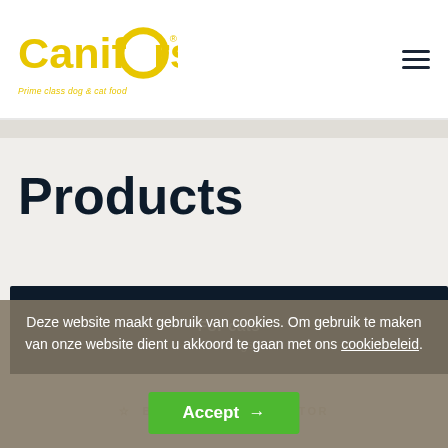Canifors — Prime class dog & cat food
Products
For cats
Deze website maakt gebruik van cookies. Om gebruik te maken van onze website dient u akkoord te gaan met ons cookiebeleid.
Accept →
BECOME A DISTRIBUTOR